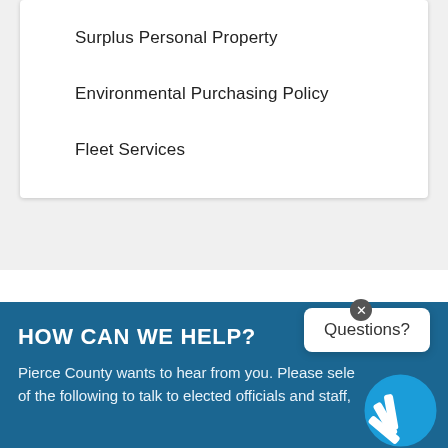Surplus Personal Property
Environmental Purchasing Policy
Fleet Services
HOW CAN WE HELP?
Pierce County wants to hear from you. Please sele of the following to talk to elected officials and staff,